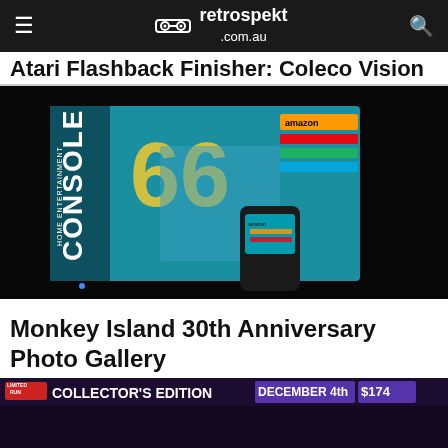retrospekt .com.au
Atari Flashback Finisher: Coleco Vision
[Figure (photo): Photo of a Coleco Vision Home Entertainment Console box displayed in a dark room, with a controller visible in front. The box shows the number 66 and various streaming service logos including Amazon. A screen displaying Amazon services is also visible.]
Monkey Island 30th Anniversary Photo Gallery
[Figure (photo): Monkey Island 30th Anniversary Anthology Collector's Edition banner showing 'COLLECTOR'S EDITION', 'DECEMBER 4th', '$174.99', with game box art and collectibles displayed below.]